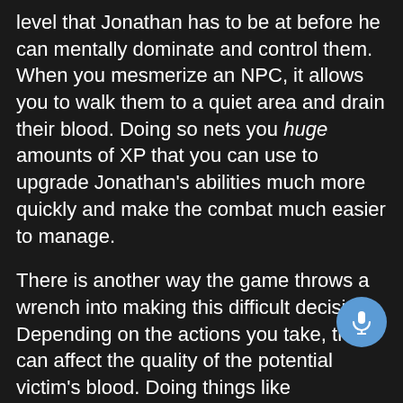level that Jonathan has to be at before he can mentally dominate and control them. When you mesmerize an NPC, it allows you to walk them to a quiet area and drain their blood. Doing so nets you huge amounts of XP that you can use to upgrade Jonathan's abilities much more quickly and make the combat much easier to manage.
There is another way the game throws a wrench into making this difficult decision. Depending on the actions you take, they can affect the quality of the potential victim's blood. Doing things like uncovering secrets and the histories of the NPCs makes their blood better which nets you more XP if you kill them.
But the rub is that killing NPCs can potentially harm the health of the districts of London, where a lot...